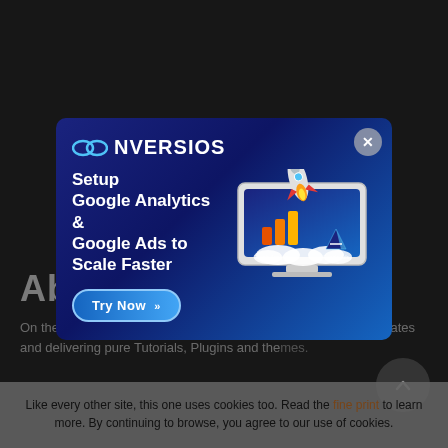[Figure (screenshot): Dark website background with partial page content visible — heading 'Ab...' and body text about WP templates, with social icons]
[Figure (illustration): Conversios modal popup ad: blue gradient background, Conversios logo, headline 'Setup Google Analytics & Google Ads to Scale Faster', Try Now button, illustration of computer screen with Google Analytics and Google Ads logos plus a rocket]
Like every other site, this one uses cookies too. Read the fine print to learn more. By continuing to browse, you agree to our use of cookies.